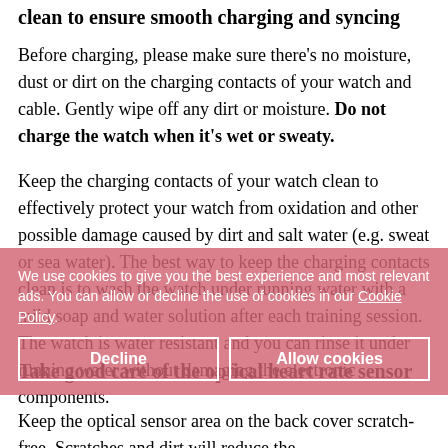clean to ensure smooth charging and syncing
Before charging, please make sure there's no moisture, dust or dirt on the charging contacts of your watch and cable. Gently wipe off any dirt or moisture. Do not charge the watch when it's wet or sweaty.
Keep the charging contacts of your watch clean to effectively protect your watch from oxidation and other possible damage caused by dirt and salt water (e.g. sweat or sea water). The best way to keep the charging contacts clean is to wash the watch under running water with a mild soap and water solution after each training session. The watch is water resistant and you can rinse it under running water without damaging the electronic components.
We use cookies to give you the best experience and most relevant ads. You can allow or decline the use of cookies in our Cookie Policy.
Decline
Allow cookies
Take good care of the optical heart rate sensor
Keep the optical sensor area on the back cover scratch-free. Scratches and dirt will reduce the